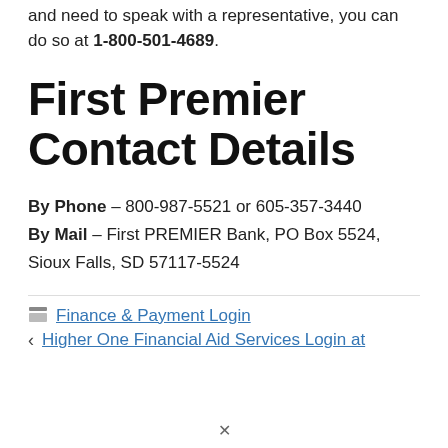and need to speak with a representative, you can do so at 1-800-501-4689.
First Premier Contact Details
By Phone – 800-987-5521 or 605-357-3440
By Mail – First PREMIER Bank, PO Box 5524, Sioux Falls, SD 57117-5524
Finance & Payment Login
Higher One Financial Aid Services Login at